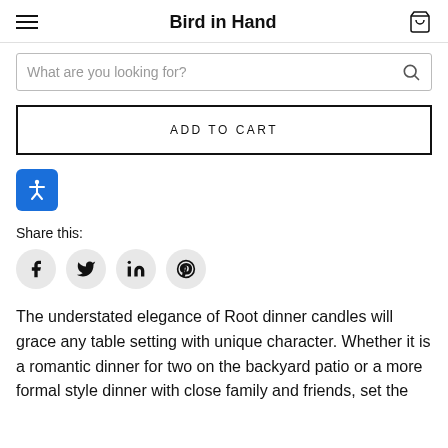Bird in Hand
What are you looking for?
ADD TO CART
[Figure (illustration): Accessibility icon button — blue rounded square with white human figure (arms and legs spread)]
Share this:
[Figure (illustration): Social share icons: Facebook, Twitter, LinkedIn, Pinterest — each in a light gray circle]
The understated elegance of Root dinner candles will grace any table setting with unique character. Whether it is a romantic dinner for two on the backyard patio or a more formal style dinner with close family and friends, set the